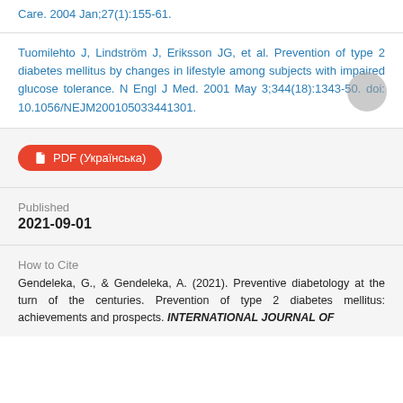Care. 2004 Jan;27(1):155-61.
Tuomilehto J, Lindström J, Eriksson JG, et al. Prevention of type 2 diabetes mellitus by changes in lifestyle among subjects with impaired glucose tolerance. N Engl J Med. 2001 May 3;344(18):1343-50. doi: 10.1056/NEJM200105033441301.
[Figure (other): Red pill-shaped button labeled PDF (Українська) with a document icon]
Published
2021-09-01
How to Cite
Gendeleka, G., & Gendeleka, A. (2021). Preventive diabetology at the turn of the centuries. Prevention of type 2 diabetes mellitus: achievements and prospects. INTERNATIONAL JOURNAL OF